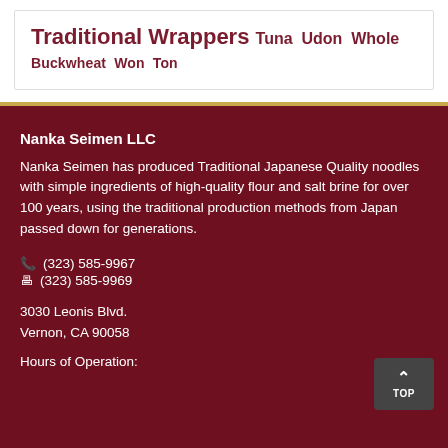Traditional Wrappers Tuna Udon Whole Buckwheat Won Ton
Nanka Seimen LLC
Nanka Seimen has produced Traditional Japanese Quality noodles with simple ingredients of high-quality flour and salt brine for over 100 years, using the traditional production methods from Japan passed down for generations.
(323) 585-9967
(323) 585-9969
3030 Leonis Blvd.
Vernon, CA 90058
Hours of Operation: